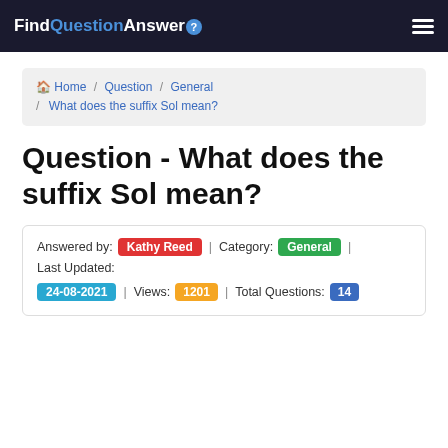FindQuestionAnswer | ☰
🏠 Home / Question / General / What does the suffix Sol mean?
Question - What does the suffix Sol mean?
Answered by: Kathy Reed | Category: General | Last Updated: 24-08-2021 | Views: 1201 | Total Questions: 14